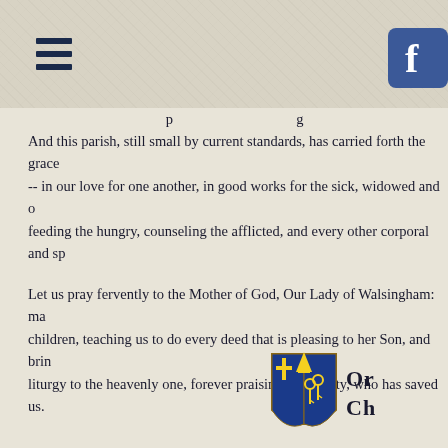[Figure (other): Hamburger menu icon (three horizontal dark navy bars) in top left header area]
[Figure (other): Facebook logo icon (white 'f' on blue square with rounded corners) in top right header area]
And this parish, still small by current standards, has carried forth the grace -- in our love for one another, in good works for the sick, widowed and o feeding the hungry, counseling the afflicted, and every other corporal and sp
Let us pray fervently to the Mother of God, Our Lady of Walsingham: ma children, teaching us to do every deed that is pleasing to her Son, and brin liturgy to the heavenly one, forever praising the Trinity, who has saved us.
[Figure (logo): Diocese coat of arms shield logo (red and blue quadrants with golden keys and cross) with text 'Ordinary Ch' visible at right — partial view cut off by page edge]